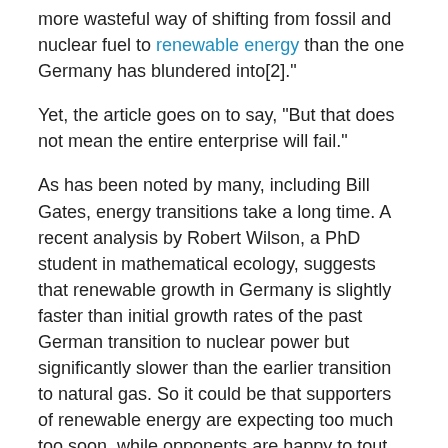more wasteful way of shifting from fossil and nuclear fuel to renewable energy than the one Germany has blundered into[2]."
Yet, the article goes on to say, “But that does not mean the entire enterprise will fail.”
As has been noted by many, including Bill Gates, energy transitions take a long time. A recent analysis by Robert Wilson, a PhD student in mathematical ecology, suggests that renewable growth in Germany is slightly faster than initial growth rates of the past German transition to nuclear power but significantly slower than the earlier transition to natural gas. So it could be that supporters of renewable energy are expecting too much too soon, while opponents are happy to tout the inevitable bumps in the road.